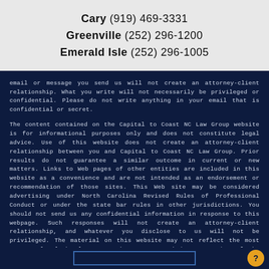Cary (919) 469-3331
Greenville (252) 296-1200
Emerald Isle (252) 296-1005
email or message you send us will not create an attorney-client relationship. What you write will not necessarily be privileged or confidential. Please do not write anything in your email that is confidential or secret.
The content contained on the Capital to Coast NC Law Group website is for informational purposes only and does not constitute legal advice. Use of this website does not create an attorney-client relationship between you and Capital to Coast NC Law Group. Prior results do not guarantee a similar outcome in current or new matters. Links to Web pages of other entities are included in this website as a convenience and are not intended as an endorsement or recommendation of those sites. This Web site may be considered advertising under North Carolina Revised Rules of Professional Conduct or under the state bar rules in other jurisdictions. You should not send us any confidential information in response to this webpage. Such responses will not create an attorney-client relationship, and whatever you disclose to us will not be privileged. The material on this website may not reflect the most current legal developments. The content and interpretation of the law addressed herein is subject to revision. We disclaim all liability in respect to actions taken or not taken based on any or all the contents of this site to the fullest extent permitted by law. Do not act or refrain from acting upon this information without seeking professional legal counsel.